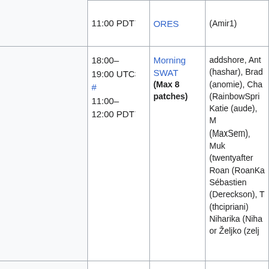|  | Time | Event | People |
| --- | --- | --- | --- |
|  | 11:00 PDT | ORES | (Amir1) |
|  | 18:00–19:00 UTC # 11:00–12:00 PDT | Morning SWAT (Max 8 patches) | addshore, Ant (hashar), Brad (anomie), Cha (RainbowSpri Katie (aude), M (MaxSem), Muk (twentyafter Roan (RoanKa Sébastien (Dereckson), T (thcipriani) Niharika (Niha or Željko (zelj |
|  | 19:00–21:00 UTC # | MediaWiki | Tyler (thcipr |